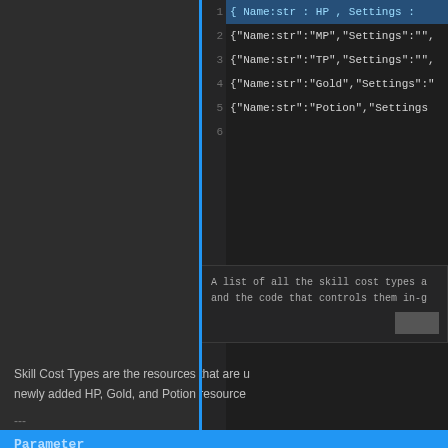[Figure (screenshot): Code editor (dark theme) showing JSON-like data with line numbers 1-6. Line 1 is highlighted blue: { Name:str : HP , Settings : ... Line 2: {Name:str:MP,Settings: Line 3: {Name:str:TP,Settings: Line 4: {Name:str:Gold,Settings: Line 5: {Name:str:Potion,Settings Line 6: empty]
A list of all the skill cost types a and the code that controls them in-g
Skill Cost Types are the resources that are u newly added HP, Gold, and Potion resource
---
Parameter